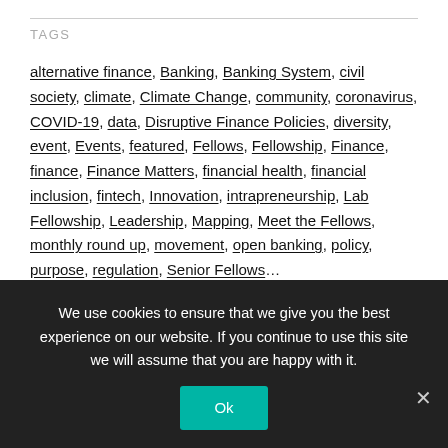TAGS
alternative finance, Banking, Banking System, civil society, climate, Climate Change, community, coronavirus, COVID-19, data, Disruptive Finance Policies, diversity, event, Events, featured, Fellows, Fellowship, Finance, finance, Finance Matters, financial health, financial inclusion, fintech, Innovation, intrapreneurship, Lab Fellowship, Leadership, Mapping, Meet the Fellows, monthly round up, movement, open banking, policy, purpose, regulation, Senior Fellows…
We use cookies to ensure that we give you the best experience on our website. If you continue to use this site we will assume that you are happy with it.